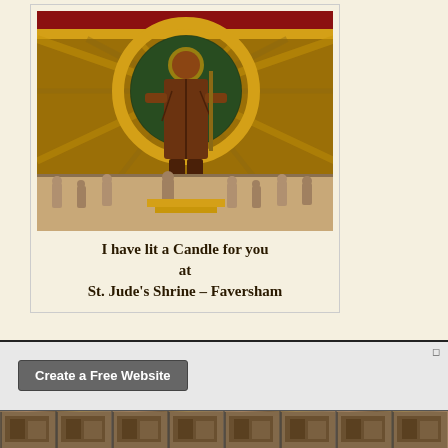[Figure (photo): A religious card showing a statue/mosaic of St. Jude at St. Jude's Shrine in Faversham. The figure stands in front of an ornate gold mosaic background with radiating decorative elements and a circular halo. Below the figure is a relief base showing smaller figures. The card has a cream/beige border.]
I have lit a Candle for you at St. Jude's Shrine – Faversham
Create a Free Website
[Figure (photo): A strip of thumbnail images at the bottom of the page showing various scenes, appearing to be a website footer image gallery.]